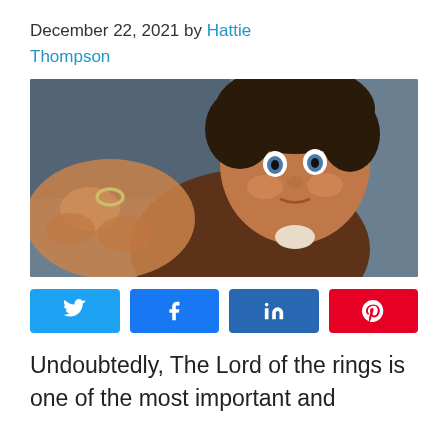December 22, 2021 by Hattie Thompson
[Figure (photo): A young hobbit character holding up a ring toward the camera with wide eyes, scene from Lord of the Rings]
[Figure (infographic): Social share buttons: Twitter, Facebook, LinkedIn, Pinterest]
Undoubtedly, The Lord of the rings is one of the most important and